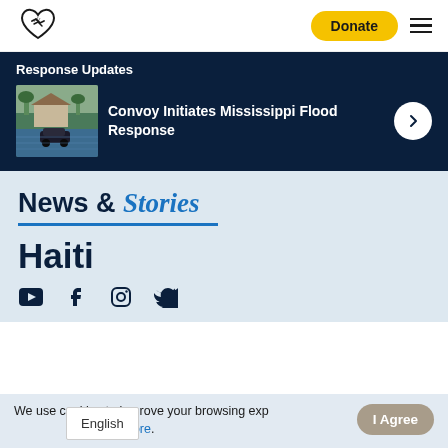[Figure (logo): Handshake/heart logo icon in outline style]
Donate
Response Updates
[Figure (photo): Flooded neighborhood with cars and house partially submerged in water]
Convoy Initiates Mississippi Flood Response
News & Stories
Haiti
We use cookies to improve your browsing experience. Learn More.
English
I Agree